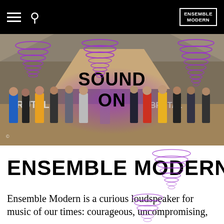Ensemble Modern website header with hamburger menu, search icon, and logo
[Figure (photo): Group photo of Ensemble Modern musicians standing under a bridge/overpass with graffiti, purple smoke/light in background, with decorative purple spiral rings overlaid. Text 'SOUND ON' overlaid in bold black.]
ENSEMBLE MODERN
Ensemble Modern is a curious loudspeaker for music of our times: courageous, uncompromising,